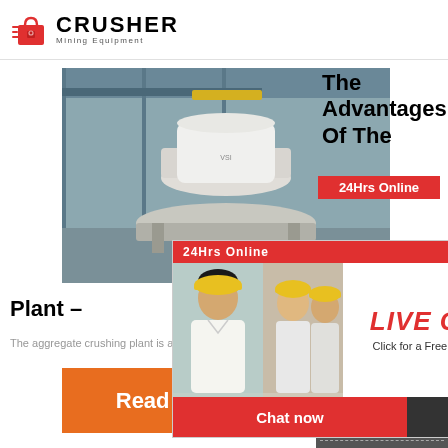[Figure (logo): Crusher Mining Equipment logo with red shopping bag icon and bold CRUSHER text]
[Figure (photo): Industrial crusher machine inside a factory/warehouse with grey steel structure]
The Advantages Of The
[Figure (infographic): 24Hrs Online red banner label]
Plant -
[Figure (photo): Live Chat popup overlay with workers in hard hats and a headset customer service representative. Buttons: Chat now, Chat later. Text: LIVE CHAT, Click for a Free Consultation]
The aggregate crushing plant is a vital piece of c
[Figure (infographic): Read More orange button]
[Figure (infographic): Right sidebar: Need questions & suggestion? Chat Now button, Enquiry link, limingjlmofen@sina.com email]